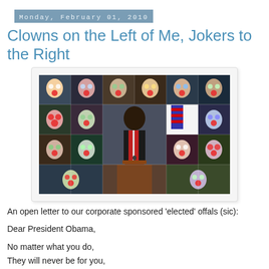Monday, February 01, 2010
Clowns on the Left of Me, Jokers to the Right
[Figure (photo): A collage of political figures with clown makeup overlaid, surrounding a central photo of President Obama speaking at a podium]
An open letter to our corporate sponsored 'elected' offals (sic):
Dear President Obama,
No matter what you do,
They will never be for you,